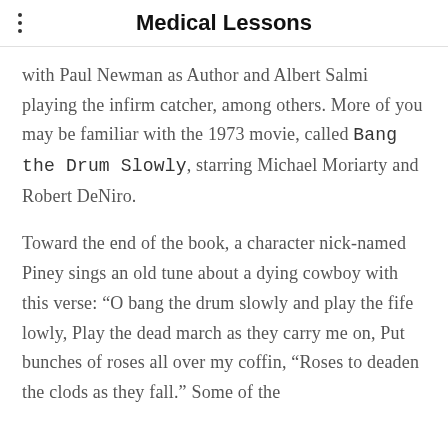Medical Lessons
with Paul Newman as Author and Albert Salmi playing the infirm catcher, among others. More of you may be familiar with the 1973 movie, called Bang the Drum Slowly, starring Michael Moriarty and Robert DeNiro.
Toward the end of the book, a character nick-named Piney sings an old tune about a dying cowboy with this verse: “O bang the drum slowly and play the fife lowly, Play the dead march as they carry me on, Put bunches of roses all over my coffin, “Roses to deaden the clods as they fall.” Some of the